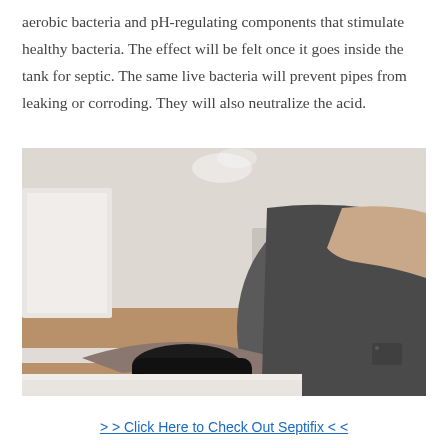aerobic bacteria and pH-regulating components that stimulate healthy bacteria. The effect will be felt once it goes inside the tank for septic. The same live bacteria will prevent pipes from leaking or corroding. They will also neutralize the acid.
[Figure (photo): A person wearing dark grey scrubs putting on black nitrile gloves, set in a clinical or laboratory environment with white furniture and a brown floor visible in the background.]
>> Click Here to Check Out Septifix <<